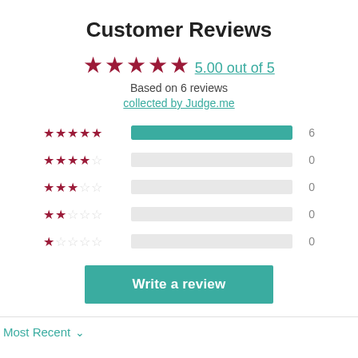Customer Reviews
5.00 out of 5
Based on 6 reviews
collected by Judge.me
[Figure (bar-chart): Star rating breakdown]
Write a review
Most Recent